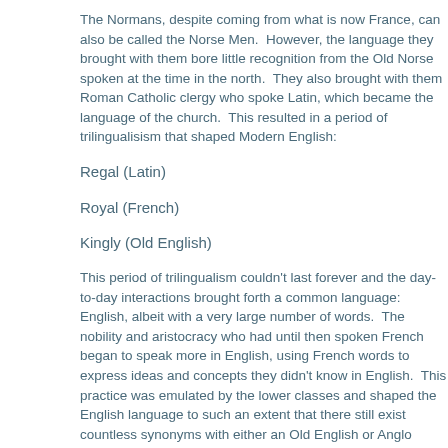The Normans, despite coming from what is now France, can also be called the Norse Men.  However, the language they brought with them bore little recognition from the Old Norse spoken at the time in the north.  They also brought with them Roman Catholic clergy who spoke Latin, which became the language of the church.  This resulted in a period of trilingualism that shaped Modern English:
Regal (Latin)
Royal (French)
Kingly (Old English)
This period of trilingualism couldn't last forever and the day-to-day interactions brought forth a common language: English, albeit with a very large number of words.  The nobility and aristocracy who had until then spoken French began to speak more in English, using French words to express ideas and concepts they didn't know in English.  This practice was emulated by the lower classes and shaped the English language to such an extent that there still exist countless synonyms with either an Old English or Anglo Norman heritage.  Nowhere is this more noticeable when it comes to food and animals. Have you ever wondered why a pig lives on a farm yet it's pork that we eat for dinner?  One theory put forward suggests the French word was used by the people who got to eat it (the nobility and aristocracy), whereas the Old English word was used by the people who had to tend to it (the peasants and lower classes).[iv]